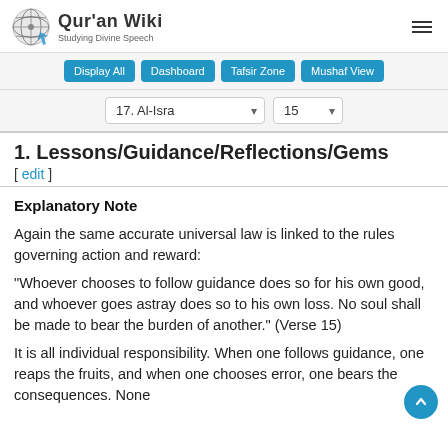Qur'an Wiki — Studying Divine Speech
1. Lessons/Guidance/Reflections/Gems [ edit ]
Explanatory Note
Again the same accurate universal law is linked to the rules governing action and reward:
“Whoever chooses to follow guidance does so for his own good, and whoever goes astray does so to his own loss. No soul shall be made to bear the burden of another.” (Verse 15)
It is all individual responsibility. When one follows guidance, one reaps the fruits, and when one chooses error, one bears the consequences. None